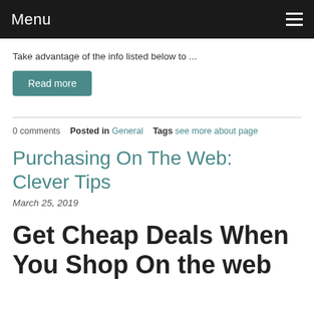Menu
Take advantage of the info listed below to ...
Read more
0 comments   Posted in General   Tags see more about page
Purchasing On The Web: Clever Tips
March 25, 2019
Get Cheap Deals When You Shop On the web